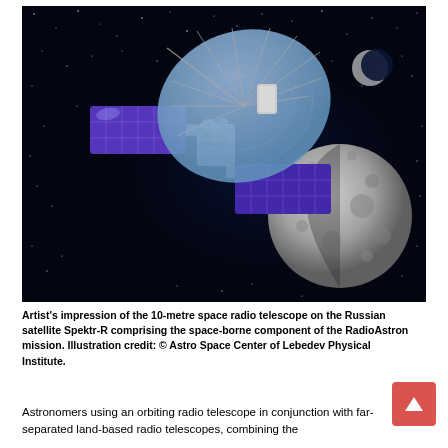[Figure (illustration): Artist's impression of a space radio telescope satellite (Spektr-R) with large blue solar panels and a large dish antenna, with the Moon visible in the background against a black starfield.]
Artist's impression of the 10-metre space radio telescope on the Russian satellite Spektr-R comprising the space-borne component of the RadioAstron mission. Illustration credit: © Astro Space Center of Lebedev Physical Institute.
Astronomers using an orbiting radio telescope in conjunction with far-separated land-based radio telescopes, combining the